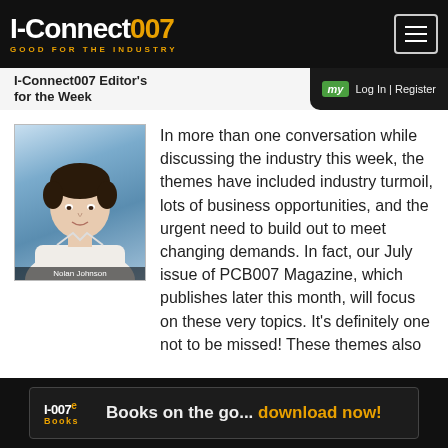I-Connect007 — GOOD FOR THE INDUSTRY
I-Connect007 Editor's Note for the Week
[Figure (photo): Headshot of Nolan Johnson, a man in a white shirt against a blue background. Caption reads: Nolan Johnson]
In more than one conversation while discussing the industry this week, the themes have included industry turmoil, lots of business opportunities, and the urgent need to build out to meet changing demands. In fact, our July issue of PCB007 Magazine, which publishes later this month, will focus on these very topics. It's definitely one not to be missed! These themes also
I-007e Books — Books on the go... download now!